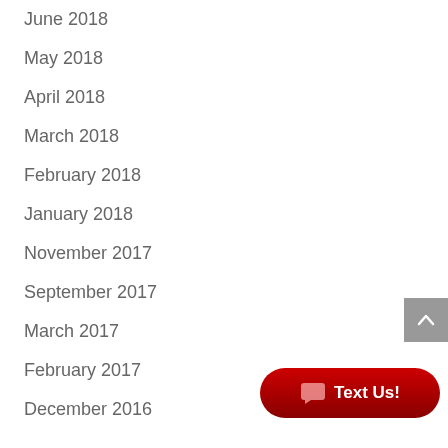June 2018
May 2018
April 2018
March 2018
February 2018
January 2018
November 2017
September 2017
March 2017
February 2017
December 2016